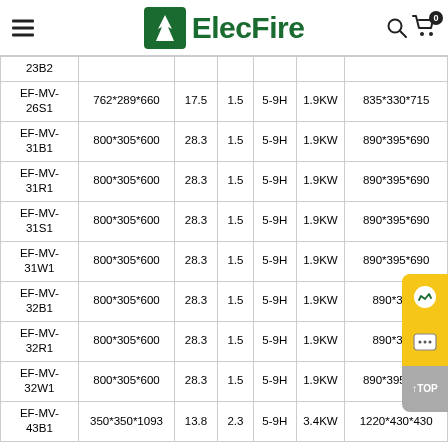ElecFire
| Model | Firebox Size (mm) | Volume (L) | Glass (mm) | Flame Height | Heater | Package Size (mm) |
| --- | --- | --- | --- | --- | --- | --- |
| 23B2 |  |  |  |  |  |  |
| EF-MV-26S1 | 762*289*660 | 17.5 | 1.5 | 5-9H | 1.9KW | 835*330*715 |
| EF-MV-31B1 | 800*305*600 | 28.3 | 1.5 | 5-9H | 1.9KW | 890*395*690 |
| EF-MV-31R1 | 800*305*600 | 28.3 | 1.5 | 5-9H | 1.9KW | 890*395*690 |
| EF-MV-31S1 | 800*305*600 | 28.3 | 1.5 | 5-9H | 1.9KW | 890*395*690 |
| EF-MV-31W1 | 800*305*600 | 28.3 | 1.5 | 5-9H | 1.9KW | 890*395*690 |
| EF-MV-32B1 | 800*305*600 | 28.3 | 1.5 | 5-9H | 1.9KW | 890*395*... |
| EF-MV-32R1 | 800*305*600 | 28.3 | 1.5 | 5-9H | 1.9KW | 890*395*... |
| EF-MV-32W1 | 800*305*600 | 28.3 | 1.5 | 5-9H | 1.9KW | 890*395*690 |
| EF-MV-43B1 | 350*350*1093 | 13.8 | 2.3 | 5-9H | 3.4KW | 1220*430*430 |